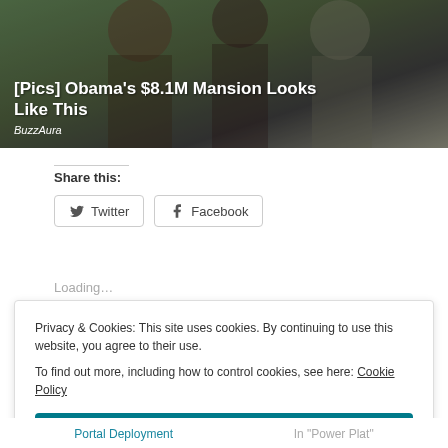[Figure (photo): Photo of three women smiling outdoors, with overlay text '[Pics] Obama's $8.1M Mansion Looks Like This' and source 'BuzzAura']
Share this:
Twitter
Facebook
Loading…
Privacy & Cookies: This site uses cookies. By continuing to use this website, you agree to their use. To find out more, including how to control cookies, see here: Cookie Policy
Close and accept
Portal Deployment
In "Power Plat"